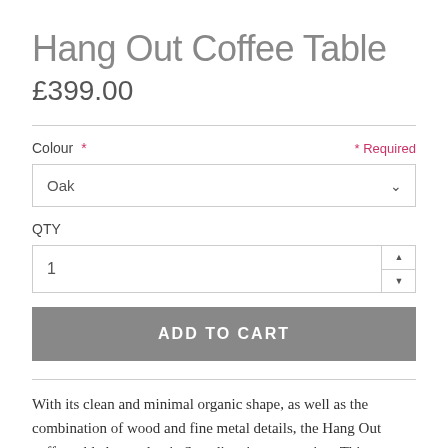Hang Out Coffee Table
£399.00
Colour * Required
Oak
QTY
1
ADD TO CART
With its clean and minimal organic shape, as well as the combination of wood and fine metal details, the Hang Out coffee table has a classic Scandinavian expression. Thin graceful